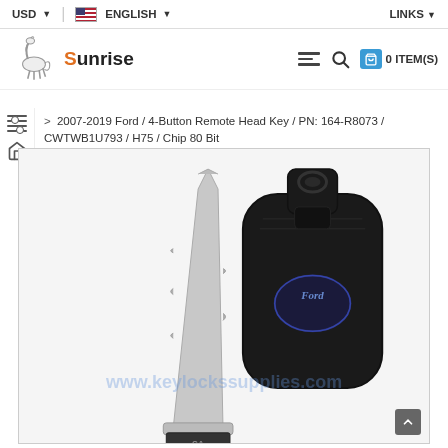USD ▼  |  🇺🇸 ENGLISH ▼  LINKS ▼
[Figure (logo): Sunrise logo with horse graphic and brand name 'Sunrise' in black and orange text]
> 2007-2019 Ford / 4-Button Remote Head Key / PN: 164-R8073 / CWTWB1U793 / H75 / Chip 80 Bit
[Figure (photo): Product photo of a Ford 4-Button Remote Head Key showing the key blade and black key fob with Ford oval logo. Watermark reads www.keylockssupplies.com]